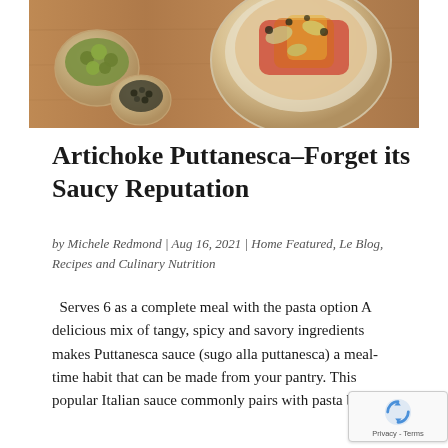[Figure (photo): Overhead food photo showing a bowl of artichoke puttanesca pasta with red and yellow ingredients, alongside small bowls of green olives and black peppercorns on a wooden surface]
Artichoke Puttanesca–Forget its Saucy Reputation
by Michele Redmond | Aug 16, 2021 | Home Featured, Le Blog, Recipes and Culinary Nutrition
Serves 6 as a complete meal with the pasta option A delicious mix of tangy, spicy and savory ingredients makes Puttanesca sauce (sugo alla puttanesca) a meal-time habit that can be made from your pantry. This popular Italian sauce commonly pairs with pasta bu....